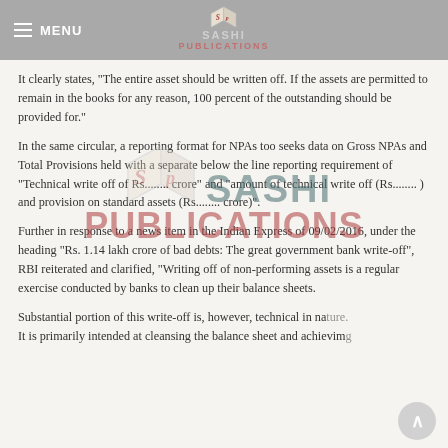MENU | SASHI PUBLICATIONS
It clearly states, "The entire asset should be written off. If the assets are permitted to remain in the books for any reason, 100 percent of the outstanding should be provided for."
In the same circular, a reporting format for NPAs too seeks data on Gross NPAs and Total Provisions held with a separate below the line reporting requirement of "Technical write off of Rs........ crore" and "amount of technical write off (Rs........ ) and provision on standard assets (Rs........ crore)".
Further in response to a news item in the Indian Express of 09/02/2016, under the heading "Rs. 1.14 lakh crore of bad debts: The great government bank write-off", RBI reiterated and clarified, "Writing off of non-performing assets is a regular exercise conducted by banks to clean up their balance sheets.
Substantial portion of this write-off is, however, technical in nature. It is primarily intended at cleansing the balance sheet and achieving